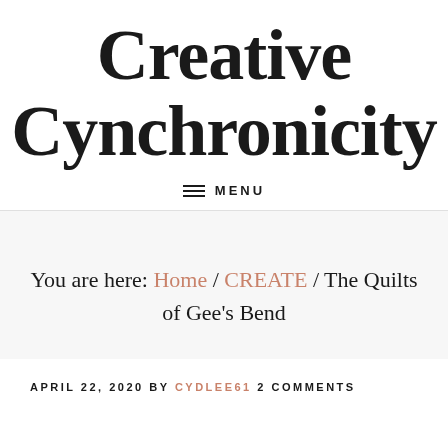Creative Cynchronicity
≡ MENU
You are here: Home / CREATE / The Quilts of Gee's Bend
APRIL 22, 2020 BY CYDLEE61 2 COMMENTS